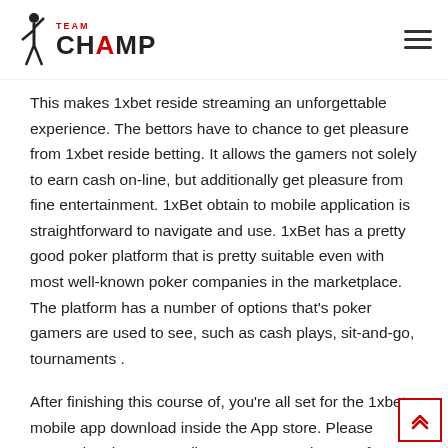TEAM CHAMP
This makes 1xbet reside streaming an unforgettable experience. The bettors have to chance to get pleasure from 1xbet reside betting. It allows the gamers not solely to earn cash on-line, but additionally get pleasure from fine entertainment. 1xBet obtain to mobile application is straightforward to navigate and use. 1xBet has a pretty good poker platform that is pretty suitable even with most well-known poker companies in the marketplace. The platform has a number of options that's poker gamers are used to see, such as cash plays, sit-and-go, tournaments .
After finishing this course of, you're all set for the 1xbet mobile app download inside the App store. Please proceed to the App retailer to start out 1xbet app free get hold of and installation. To study to acquire and set up the 1xbet mobile